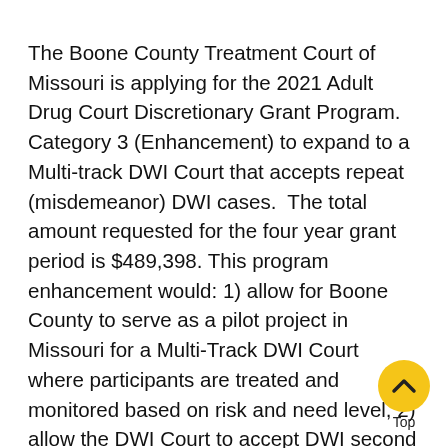The Boone County Treatment Court of Missouri is applying for the 2021 Adult Drug Court Discretionary Grant Program. Category 3 (Enhancement) to expand to a Multi-track DWI Court that accepts repeat (misdemeanor) DWI cases.  The total amount requested for the four year grant period is $489,398. This program enhancement would: 1) allow for Boone County to serve as a pilot project in Missouri for a Multi-Track DWI Court where participants are treated and monitored based on risk and need level, 2) allow the DWI Court to accept DWI second offenses which are currently ineligible for the program and 3) Engage in a process, outcome and cost evaluation to support ongoing program improvement in implementing research-based best practices following NADCP's